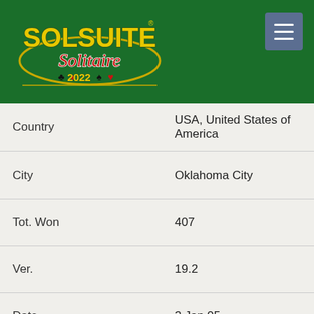[Figure (logo): SolSuite Solitaire 2022 logo on dark green background with menu button]
| Country | USA, United States of America |
| City | Oklahoma City |
| Tot. Won | 407 |
| Ver. | 19.2 |
| Date | 3 Jan 05 |
| N. | 08 |
| Name | Vanessa Tomlin |